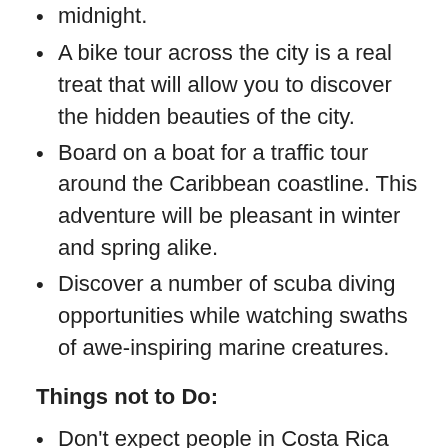midnight.
A bike tour across the city is a real treat that will allow you to discover the hidden beauties of the city.
Board on a boat for a traffic tour around the Caribbean coastline. This adventure will be pleasant in winter and spring alike.
Discover a number of scuba diving opportunities while watching swaths of awe-inspiring marine creatures.
Things not to Do:
Don't expect people in Costa Rica are adhering to traffic rules. Sings mean nothing to them or to be more specific, they mean go faster!